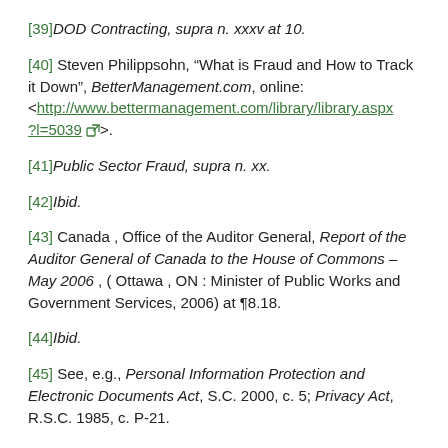[39] DOD Contracting, supra n. xxxv at 10.
[40] Steven Philippsohn, “What is Fraud and How to Track it Down”, BetterManagement.com, online: <http://www.bettermanagement.com/library/library.aspx?l=5039>.
[41] Public Sector Fraud, supra n. xx.
[42] Ibid.
[43] Canada , Office of the Auditor General, Report of the Auditor General of Canada to the House of Commons – May 2006 , ( Ottawa , ON : Minister of Public Works and Government Services, 2006) at ¶8.18.
[44] Ibid.
[45] See, e.g., Personal Information Protection and Electronic Documents Act, S.C. 2000, c. 5; Privacy Act, R.S.C. 1985, c. P-21.